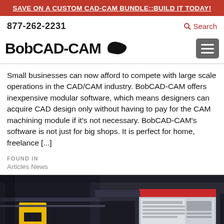SAVE ON A CUSTOM CAD-CAM BUNDLE::BUILD IT TODAY!
877-262-2231
Search
[Figure (logo): BobCAD-CAM logo with arrow/bird icon]
Small businesses can now afford to compete with large scale operations in the CAD/CAM industry. BobCAD-CAM offers inexpensive modular software, which means designers can acquire CAD design only without having to pay for the CAM machining module if it’s not necessary. BobCAD-CAM’s software is not just for big shops. It is perfect for home, freelance [...]
FOUND IN
Articles   News
[Figure (photo): CNC machining equipment close-up with yellow component and monitor screen showing CAD/CAM software]